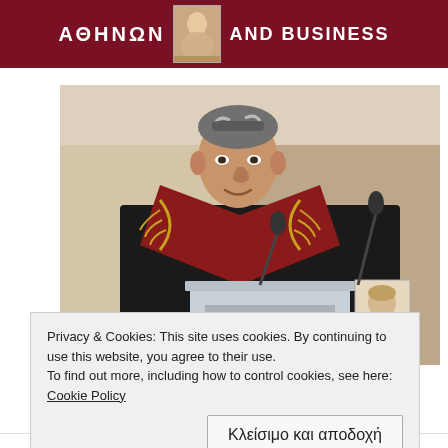ΑΘΗΝΩΝ AND BUSINESS
[Figure (photo): A man in academic regalia (black robe with red and gold embroidered stole) speaking at a podium. A microphone is visible and a small portrait image is displayed at the podium. The setting appears to be a formal university ceremony.]
Privacy & Cookies: This site uses cookies. By continuing to use this website, you agree to their use.
To find out more, including how to control cookies, see here: Cookie Policy
Κλείσιμο και αποδοχή